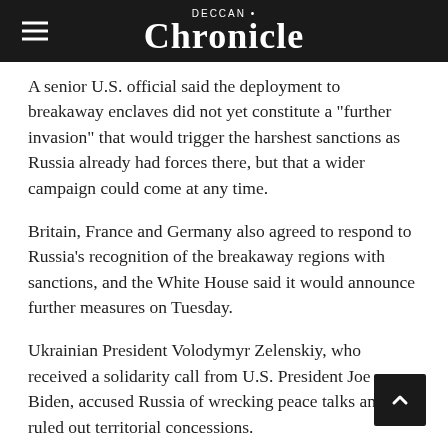Deccan Chronicle
A senior U.S. official said the deployment to breakaway enclaves did not yet constitute a "further invasion" that would trigger the harshest sanctions as Russia already had forces there, but that a wider campaign could come at any time.
Britain, France and Germany also agreed to respond to Russia's recognition of the breakaway regions with sanctions, and the White House said it would announce further measures on Tuesday.
Ukrainian President Volodymyr Zelenskiy, who received a solidarity call from U.S. President Joe Biden, accused Russia of wrecking peace talks and ruled out territorial concessions.
Linda Thomas-Greenfield, U.S. ambassador to the United Nations, told an emergency meeting of the Security Council that Moscow's position of the